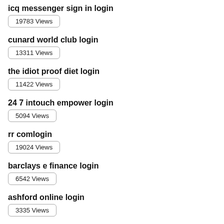icq messenger sign in login
19783 Views
cunard world club login
13311 Views
the idiot proof diet login
11422 Views
24 7 intouch empower login
5094 Views
rr comlogin
19024 Views
barclays e finance login
6542 Views
ashford online login
3335 Views